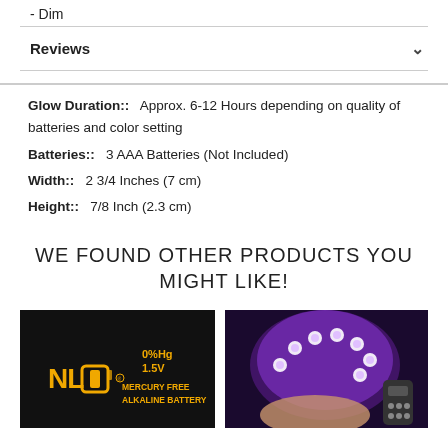- Dim
Reviews
Glow Duration::   Approx. 6-12 Hours depending on quality of batteries and color setting
Batteries::   3 AAA Batteries (Not Included)
Width::   2 3/4 Inches (7 cm)
Height::   7/8 Inch (2.3 cm)
WE FOUND OTHER PRODUCTS YOU MIGHT LIKE!
[Figure (photo): Battery product photo showing NLO brand mercury free alkaline battery with 0%Hg and 1.5V label on black background]
[Figure (photo): Purple illuminated LED light product held in hand against dark background with remote control]